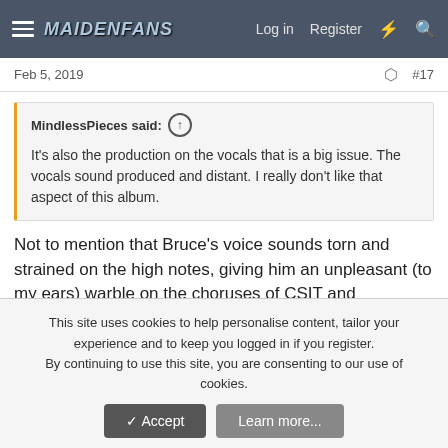MaidenFans — Log in  Register
Feb 5, 2019  #17
MindlessPieces said: ↑ It's also the production on the vocals that is a big issue. The vocals sound produced and distant. I really don't like that aspect of this album.
Not to mention that Bruce's voice sounds torn and strained on the high notes, giving him an unpleasant (to my ears) warble on the choruses of CSIT and Loneliness.
SirRobbins
Ancient Mariner
This site uses cookies to help personalise content, tailor your experience and to keep you logged in if you register.
By continuing to use this site, you are consenting to our use of cookies.